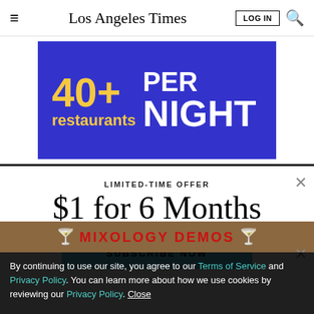Los Angeles Times
[Figure (infographic): Blue advertisement banner showing '40+ restaurants PER NIGHT' in yellow and white bold text on a dark blue background]
LIMITED-TIME OFFER
$1 for 6 Months
SUBSCRIBE NOW
By continuing to use our site, you agree to our Terms of Service and Privacy Policy. You can learn more about how we use cookies by reviewing our Privacy Policy. Close
[Figure (infographic): Brown background ad partially visible at bottom showing 'MIXOLOGY DEMOS' in red text with martini glass icons]